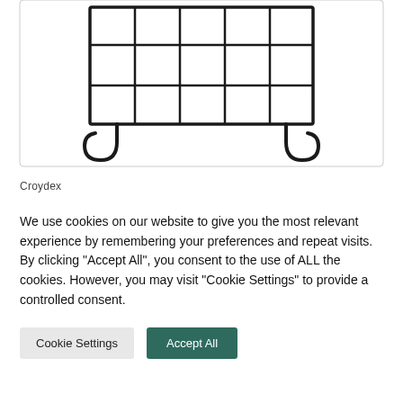[Figure (photo): Product photo of a black metal wire over-door basket/rack with hooks at the bottom, shown against a white background inside a light grey bordered container]
Croydex
We use cookies on our website to give you the most relevant experience by remembering your preferences and repeat visits. By clicking "Accept All", you consent to the use of ALL the cookies. However, you may visit "Cookie Settings" to provide a controlled consent.